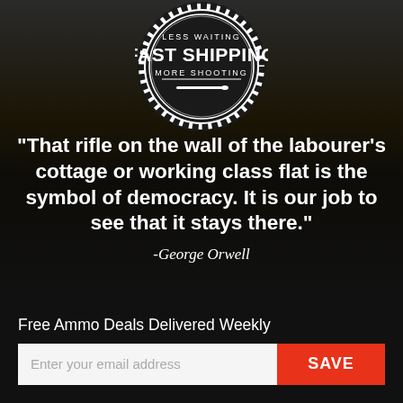[Figure (logo): Circular badge/seal with gear-tooth border. Text reads: LESS WAITING at top, FAST SHIPPING in large bold letters in center, MORE SHOOTING below, with a bullet/rifle illustration at bottom center. Black and white design.]
“That rifle on the wall of the labourer’s cottage or working class flat is the symbol of democracy. It is our job to see that it stays there.”
-George Orwell
Free Ammo Deals Delivered Weekly
Enter your email address
SAVE